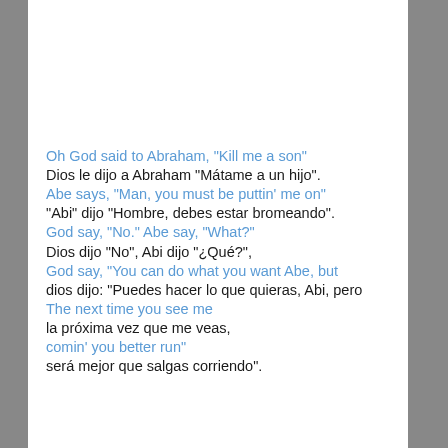Oh God said to Abraham, "Kill me a son"
Dios le dijo a Abraham "Mátame a un hijo".
Abe says, "Man, you must be puttin' me on"
"Abi" dijo "Hombre, debes estar bromeando".
God say, "No." Abe say, "What?"
Dios dijo "No", Abi dijo "¿Qué?",
God say, "You can do what you want Abe, but
dios dijo: "Puedes hacer lo que quieras, Abi, pero
The next time you see me
la próxima vez que me veas,
comin' you better run"
será mejor que salgas corriendo".